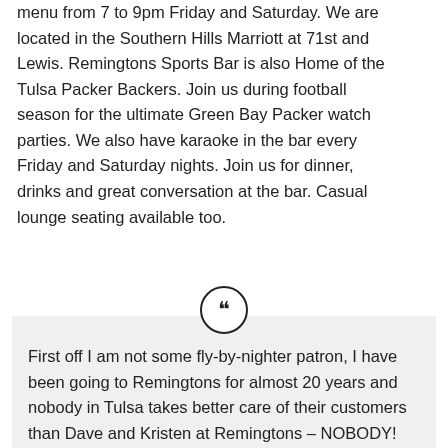menu from 7 to 9pm Friday and Saturday. We are located in the Southern Hills Marriott at 71st and Lewis. Remingtons Sports Bar is also Home of the Tulsa Packer Backers. Join us during football season for the ultimate Green Bay Packer watch parties. We also have karaoke in the bar every Friday and Saturday nights. Join us for dinner, drinks and great conversation at the bar. Casual lounge seating available too.
First off I am not some fly-by-nighter patron, I have been going to Remingtons for almost 20 years and nobody in Tulsa takes better care of their customers than Dave and Kristen at Remingtons – NOBODY! This is a clean, classy place with excellent pub grub and better